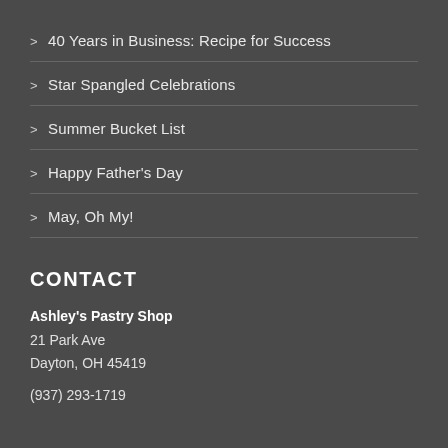> 40 Years in Business: Recipe for Success
> Star Spangled Celebrations
> Summer Bucket List
> Happy Father's Day
> May, Oh My!
CONTACT
Ashley's Pastry Shop
21 Park Ave
Dayton, OH 45419

(937) 293-1719